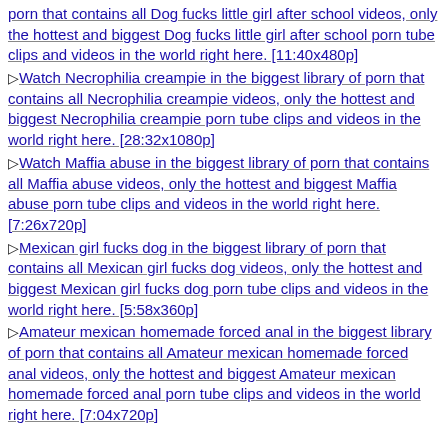porn that contains all Dog fucks little girl after school videos, only the hottest and biggest Dog fucks little girl after school porn tube clips and videos in the world right here. [11:40x480p]
▷Watch Necrophilia creampie in the biggest library of porn that contains all Necrophilia creampie videos, only the hottest and biggest Necrophilia creampie porn tube clips and videos in the world right here. [28:32x1080p]
▷Watch Maffia abuse in the biggest library of porn that contains all Maffia abuse videos, only the hottest and biggest Maffia abuse porn tube clips and videos in the world right here. [7:26x720p]
▷Mexican girl fucks dog in the biggest library of porn that contains all Mexican girl fucks dog videos, only the hottest and biggest Mexican girl fucks dog porn tube clips and videos in the world right here. [5:58x360p]
▷Amateur mexican homemade forced anal in the biggest library of porn that contains all Amateur mexican homemade forced anal videos, only the hottest and biggest Amateur mexican homemade forced anal porn tube clips and videos in the world right here. [7:04x720p]